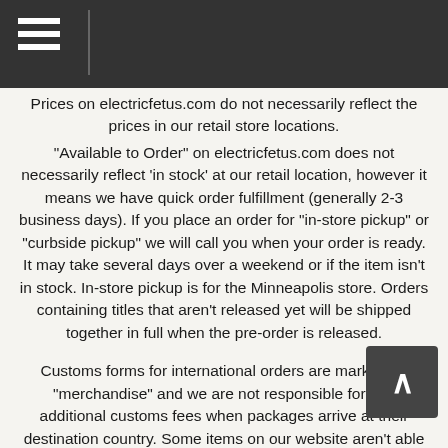Prices on electricfetus.com do not necessarily reflect the prices in our retail store locations.
"Available to Order" on electricfetus.com does not necessarily reflect 'in stock' at our retail location, however it means we have quick order fulfillment (generally 2-3 business days). If you place an order for "in-store pickup" or "curbside pickup" we will call you when your order is ready. It may take several days over a weekend or if the item isn't in stock. In-store pickup is for the Minneapolis store. Orders containing titles that aren't released yet will be shipped together in full when the pre-order is released.
Customs forms for international orders are marked as "merchandise" and we are not responsible for any additional customs fees when packages arrive at their destination country. Some items on our website aren't able to be shipped outside the U.S. Foreign orders for those items will be refunded. Box sets may incur an additional shipping fee for international orders. You will be emailed if there is an additional charge before your order is processed. Due to new VAT laws, we are unable to ship to the UK, Norway, Brazil, and the 27 countries in the EU. Priority shipping might not be available for large box sets. We will contact orders if we can't honor priority shipping on those items and a